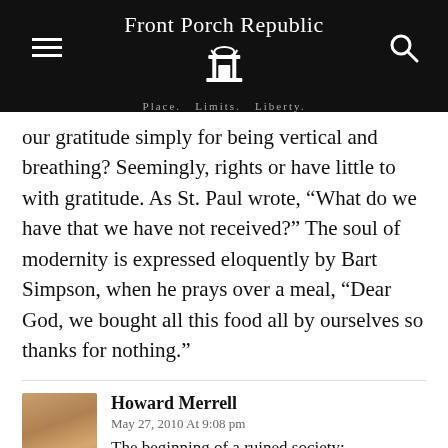Front Porch Republic — Place. Limits. Liberty.
our gratitude simply for being vertical and breathing? Seemingly, rights or have little to with gratitude. As St. Paul wrote, “What do we have that we have not received?” The soul of modernity is expressed eloquently by Bart Simpson, when he prays over a meal, “Dear God, we bought all this food all by ourselves so thanks for nothing.”
Howard Merrell
May 27, 2010 At 9:08 pm
The beginning of a ruined society: